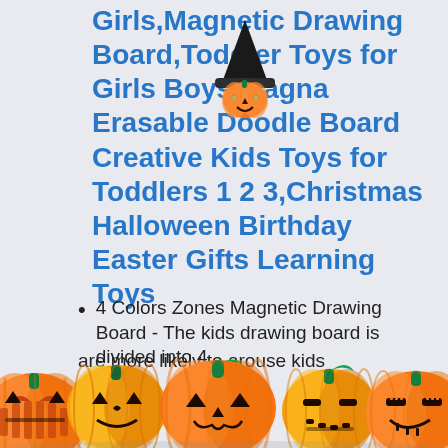Girls,Magnetic Drawing Board,Toddler Toys for Girls Boys,Magna Erasable Doodle Board Creative Kids Toys for Toddlers 1 2 3,Christmas Halloween Birthday Easter Gifts Learning Toys
4 Colors Zones Magnetic Drawing Board - The kids drawing board is divided into 4
are more likely to arouse kids
[Figure (illustration): A row of five orange jack-o-lantern pumpkins with carved faces at the bottom of the page, some partially cut off. A small witch hat and glowing orange pumpkin emoji overlay the title text area.]